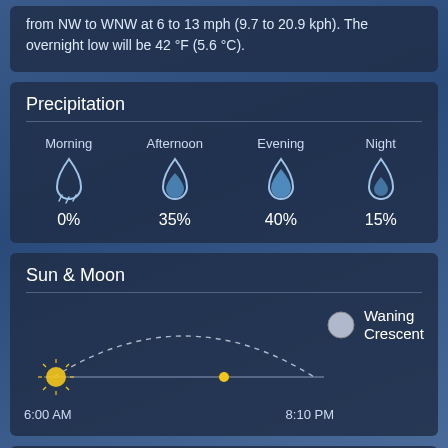from NW to WNW at 6 to 13 mph (9.7 to 20.9 kph). The overnight low will be 42 °F (5.6 °C).
Precipitation
[Figure (infographic): Precipitation chance icons for Morning (0%), Afternoon (35%), Evening (40%), Night (15%) with raindrop icons]
Sun & Moon
[Figure (infographic): Sun arc diagram showing sunrise at 6:00 AM and sunset at 8:10 PM, with Waning Crescent moon phase]
Wind & Pressure